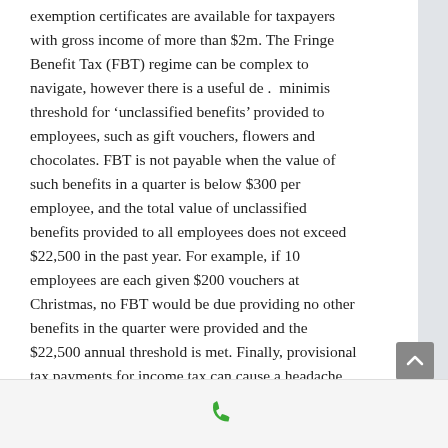exemption certificates are available for taxpayers with gross income of more than $2m. The Fringe Benefit Tax (FBT) regime can be complex to navigate, however there is a useful de .  minimis threshold for 'unclassified benefits' provided to employees, such as gift vouchers, flowers and chocolates. FBT is not payable when the value of such benefits in a quarter is below $300 per employee, and the total value of unclassified benefits provided to all employees does not exceed $22,500 in the past year. For example, if 10 employees are each given $200 vouchers at Christmas, no FBT would be due providing no other benefits in the quarter were provided and the $22,500 annual threshold is met. Finally, provisional tax payments for income tax can cause a headache
[Figure (other): Phone/call icon in green color in the bottom bar area]